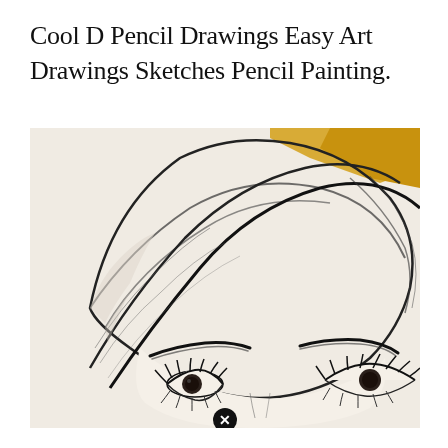Cool D Pencil Drawings Easy Art Drawings Sketches Pencil Painting.
[Figure (illustration): A pencil sketch drawing of a woman's face and head. She wears a wrapped head covering (turban/headwrap) with loose flowing lines. A golden/yellow decorative element appears at the top right. The lower portion shows her eyebrows, eyes with lashes, and the bridge of her nose. A small black circle with an X symbol appears at the very bottom center of the image.]